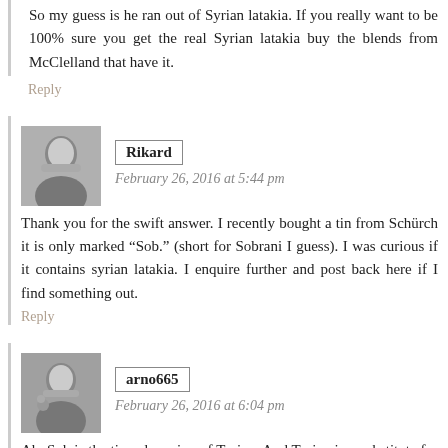So my guess is he ran out of Syrian latakia. If you really want to be 100% sure you get the real Syrian latakia buy the blends from McClelland that have it.
Reply
Rikard
February 26, 2016 at 5:44 pm
Thank you for the swift answer. I recently bought a tin from Schürch it is only marked “Sob.” (short for Sobrani I guess). I was curious if it contains syrian latakia. I enquire further and post back here if I find something out.
Reply
arno665
February 26, 2016 at 6:04 pm
Ah, Sob is the tinned version of Torina. And Torina is a substitute for Balkan Sobranie 759. That tobacco never contained Syrian